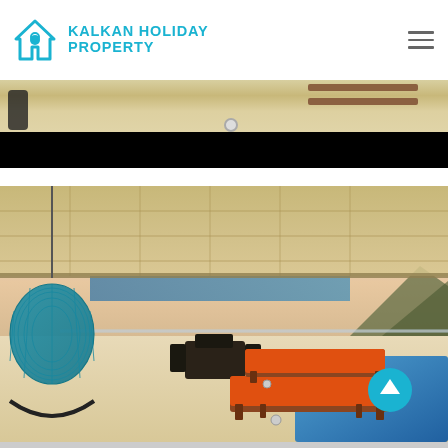[Figure (logo): Kalkan Holiday Property logo with house/location pin icon in cyan/teal and bold cyan text]
[Figure (photo): Top portion of a villa terrace photo showing wooden sunbeds on a light stone patio, partially obscured by a black bar at the bottom]
[Figure (photo): Villa terrace at sunset with a teal hanging egg chair on the left, orange cushioned sunbeds on the right, a pergola overhead, dining area in background, blue swimming pool, and sea/mountain view. A teal scroll-up button is visible on the right side.]